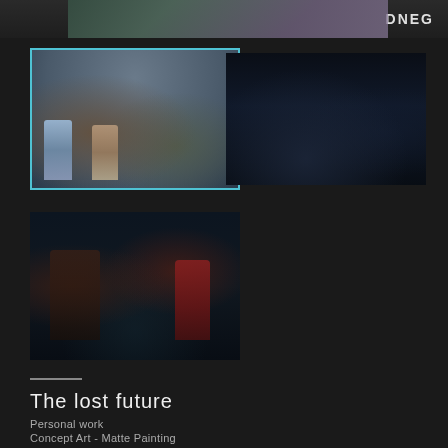[Figure (screenshot): Top strip with partial image of purple/green abstract scene and DNEG logo text on dark background]
[Figure (photo): Film still showing two figures in period costume in a courtyard with gothic ruins and dramatic sky, cyan border]
[Figure (photo): Dark moody cinematic image of a road or path at night with dim light]
[Figure (photo): Dark cinematic scene with two figures, one in red, smoky atmosphere]
The lost future
Personal work
Concept Art - Matte Painting